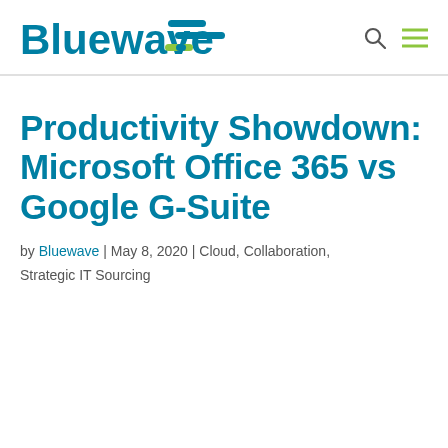Bluewave
Productivity Showdown: Microsoft Office 365 vs Google G-Suite
by Bluewave | May 8, 2020 | Cloud, Collaboration, Strategic IT Sourcing